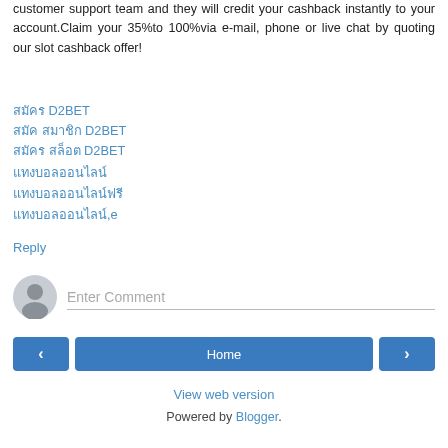customer support team and they will credit your cashback instantly to your account.Claim your 35%to 100%via e-mail, phone or live chat by quoting our slot cashback offer!
สมัคร D2BET
สมัค สมาชิก D2BET
สมัคร สล็อต D2BET
แทงบอลออนไลน์
แทงบอลออนไลน์ฟรี
แทงบอลออนไลน์,e
Reply
Enter Comment
Home
View web version
Powered by Blogger.